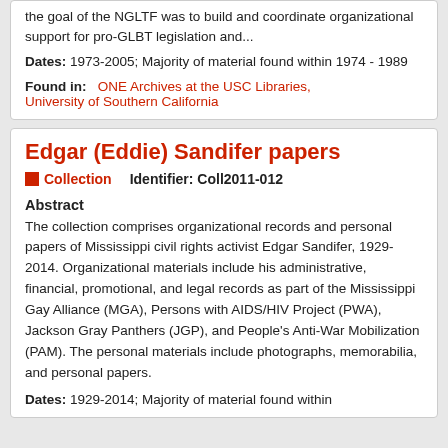the goal of the NGLTF was to build and coordinate organizational support for pro-GLBT legislation and...
Dates: 1973-2005; Majority of material found within 1974 - 1989
Found in:  ONE Archives at the USC Libraries, University of Southern California
Edgar (Eddie) Sandifer papers
Collection   Identifier: Coll2011-012
Abstract
The collection comprises organizational records and personal papers of Mississippi civil rights activist Edgar Sandifer, 1929-2014. Organizational materials include his administrative, financial, promotional, and legal records as part of the Mississippi Gay Alliance (MGA), Persons with AIDS/HIV Project (PWA), Jackson Gray Panthers (JGP), and People's Anti-War Mobilization (PAM). The personal materials include photographs, memorabilia, and personal papers.
Dates: 1929-2014; Majority of material found within